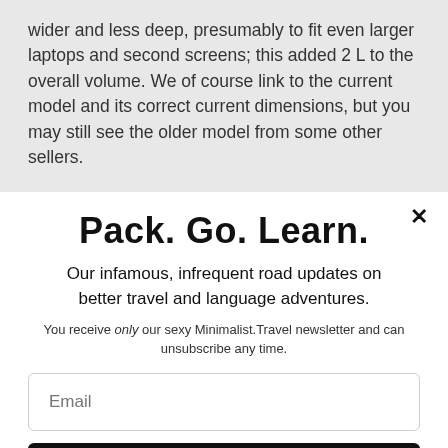wider and less deep, presumably to fit even larger laptops and second screens; this added 2 L to the overall volume. We of course link to the current model and its correct current dimensions, but you may still see the older model from some other sellers.
Pack. Go. Learn.
Our infamous, infrequent road updates on better travel and language adventures.
You receive only our sexy Minimalist.Travel newsletter and can unsubscribe any time.
Email
Take me away!